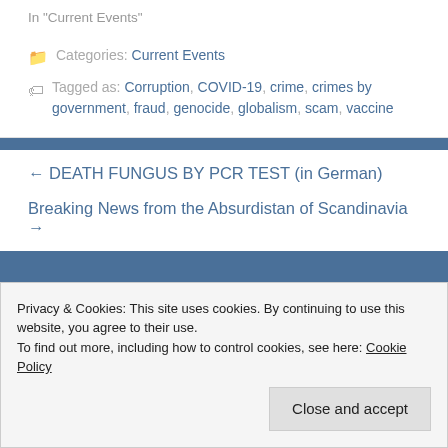In "Current Events"
Categories: Current Events
Tagged as: Corruption, COVID-19, crime, crimes by government, fraud, genocide, globalism, scam, vaccine
← DEATH FUNGUS BY PCR TEST (in German)
Breaking News from the Absurdistan of Scandinavia →
Privacy & Cookies: This site uses cookies. By continuing to use this website, you agree to their use.
To find out more, including how to control cookies, see here: Cookie Policy
Close and accept